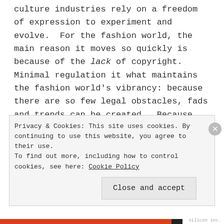culture industries rely on a freedom of expression to experiment and evolve.  For the fashion world, the main reason it moves so quickly is because of the lack of copyright.  Minimal regulation it what maintains the fashion world's vibrancy: because there are so few legal obstacles, fads and trends can be created.  Because Marc Jacobs can riff of Rayban and the US Airforce, we get a spin on the aviator sunglasses.  We have inspirational street style blogs like the Satorialist and Mr.
Privacy & Cookies: This site uses cookies. By continuing to use this website, you agree to their use.
To find out more, including how to control cookies, see here: Cookie Policy
Close and accept